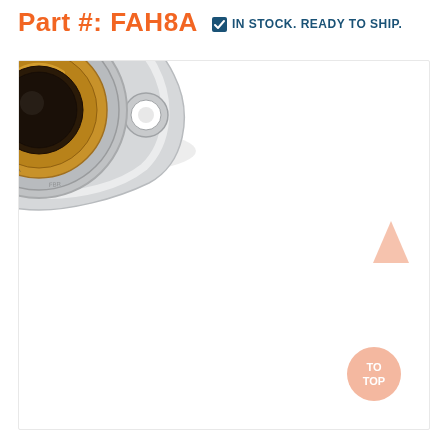Part #: FAH8A
IN STOCK. READY TO SHIP.
[Figure (photo): A two-bolt flange bearing unit (FAH8A) with a stainless steel housing and bronze/brass inner sleeve, shown from a front-angled perspective. The housing has a rounded diamond shape with two mounting holes on either side. A locking collar is visible at the top.]